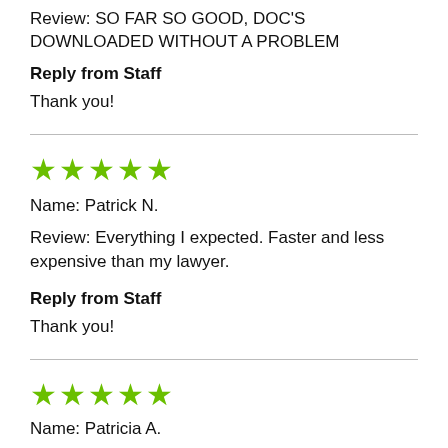Review: SO FAR SO GOOD, DOC'S DOWNLOADED WITHOUT A PROBLEM
Reply from Staff
Thank you!
★★★★★
Name: Patrick N.
Review: Everything I expected. Faster and less expensive than my lawyer.
Reply from Staff
Thank you!
★★★★★
Name: Patricia A.